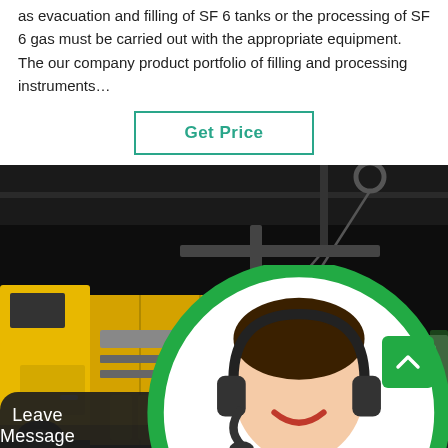as evacuation and filling of SF 6 tanks or the processing of SF 6 gas must be carried out with the appropriate equipment. The our company product portfolio of filling and processing instruments…
Get Price
[Figure (photo): Industrial scene at night showing a yellow truck next to yellow gas processing equipment and cylinders, with a worker in blue coveralls and hard hat, and racks of silver gas cylinders on the right.]
Leave Message
Chat Online